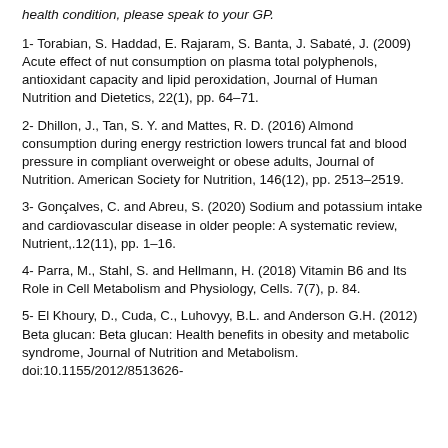health condition, please speak to your GP.
1- Torabian, S. Haddad, E. Rajaram, S. Banta, J. Sabaté, J. (2009) Acute effect of nut consumption on plasma total polyphenols, antioxidant capacity and lipid peroxidation, Journal of Human Nutrition and Dietetics, 22(1), pp. 64–71.
2- Dhillon, J., Tan, S. Y. and Mattes, R. D. (2016) Almond consumption during energy restriction lowers truncal fat and blood pressure in compliant overweight or obese adults, Journal of Nutrition. American Society for Nutrition, 146(12), pp. 2513–2519.
3- Gonçalves, C. and Abreu, S. (2020) Sodium and potassium intake and cardiovascular disease in older people: A systematic review, Nutrient,.12(11), pp. 1–16.
4- Parra, M., Stahl, S. and Hellmann, H. (2018) Vitamin B6 and Its Role in Cell Metabolism and Physiology, Cells. 7(7), p. 84.
5- El Khoury, D., Cuda, C., Luhovyy, B.L. and Anderson G.H. (2012) Beta glucan: Beta glucan: Health benefits in obesity and metabolic syndrome, Journal of Nutrition and Metabolism. doi:10.1155/2012/8513626-